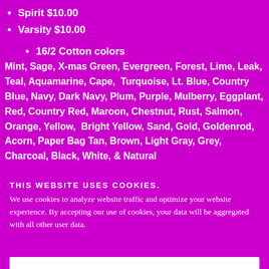Spirit $10.00
Varsity $10.00
16/2 Cotton colors
Mint, Sage, X-mas Green, Evergreen, Forest, Lime, Leak, Teal, Aquamarine, Cape, Turquoise, Lt. Blue, Country Blue, Navy, Dark Navy, Plum, Purple, Mulberry, Eggplant, Red, Country Red, Maroon, Chestnut, Rust, Salmon, Orange, Yellow, Bright Yellow, Sand, Gold, Goldenrod, Acorn, Paper Bag Tan, Brown, Light Gray, Grey, Charcoal, Black, White, & Natural
THIS WEBSITE USES COOKIES.
We use cookies to analyze website traffic and optimize your website experience. By accepting our use of cookies, your data will be aggregated with all other user data.